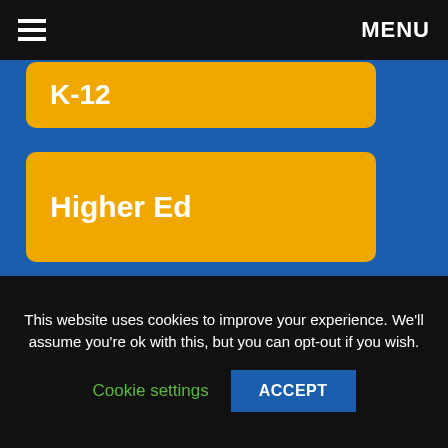MENU
[Figure (other): Partially visible yellow button labeled 'K-12' on blue background]
[Figure (other): Yellow rounded button labeled 'Higher Ed' on blue background]
*This website is attorney advertising and does not establish an attorney-client relationship, which is only formed when you have signed an engagement agreement. ICS does not guarantee results; past results do not guarantee future results.
**Listing of the above legal services or specific areas of practice does not indicate any certification of expertise therein.
This website uses cookies to improve your experience. We'll assume you're ok with this, but you can opt-out if you wish.
Cookie settings  ACCEPT